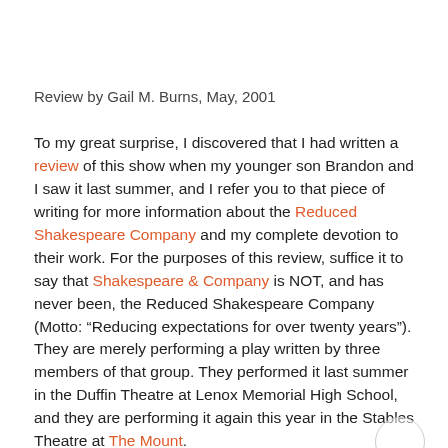Review by Gail M. Burns, May, 2001
To my great surprise, I discovered that I had written a review of this show when my younger son Brandon and I saw it last summer, and I refer you to that piece of writing for more information about the Reduced Shakespeare Company and my complete devotion to their work. For the purposes of this review, suffice it to say that Shakespeare & Company is NOT, and has never been, the Reduced Shakespeare Company (Motto: “Reducing expectations for over twenty years”). They are merely performing a play written by three members of that group. They performed it last summer in the Duffin Theatre at Lenox Memorial High School, and they are performing it again this year in the Stables Theatre at The Mount.